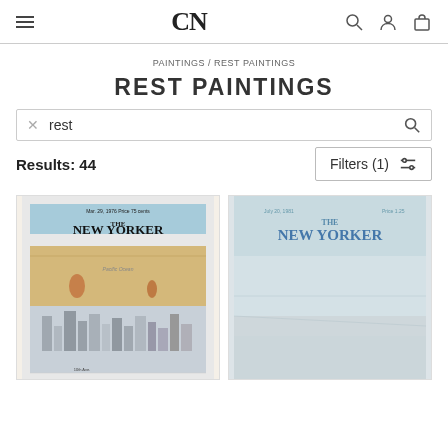CN
PAINTINGS / REST PAINTINGS
REST PAINTINGS
rest (search box)
Results: 44
Filters (1)
[Figure (photo): The New Yorker magazine cover - Mar. 29, 1976 - illustrated map showing Pacific Ocean and New York City from bird's eye view]
[Figure (photo): The New Yorker magazine cover - July 20, 1981 - minimalist pastel seascape or open horizon scene]